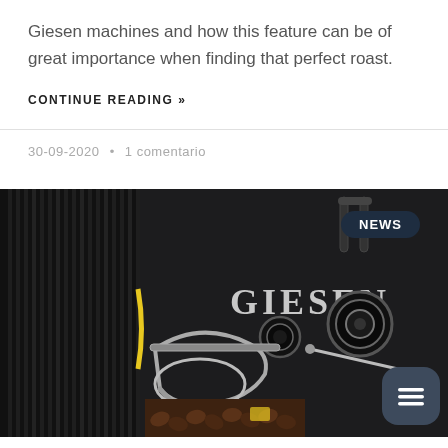Giesen machines and how this feature can be of great importance when finding that perfect roast.
CONTINUE READING »
30-09-2020 • 1 comentario
[Figure (photo): Close-up photo of a Giesen coffee roasting machine showing the front panel with 'GIESEN' branding, mechanical components including handles, a portafilter-style scoop, circular ports, and coffee beans visible at the bottom. A 'NEWS' badge overlay appears in the top right.]